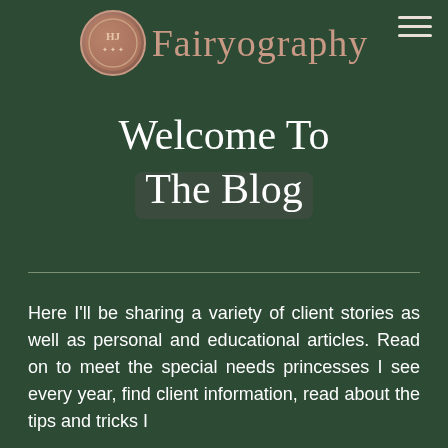[Figure (logo): Fairyography logo with circular emblem on left and cursive script text reading 'Fairyography' in rose gold color on dark green background]
Welcome To The Blog
Here I'll be sharing a variety of client stories as well as personal and educational articles. Read on to meet the special needs princesses I see every year, find client information, read about the tips and tricks I